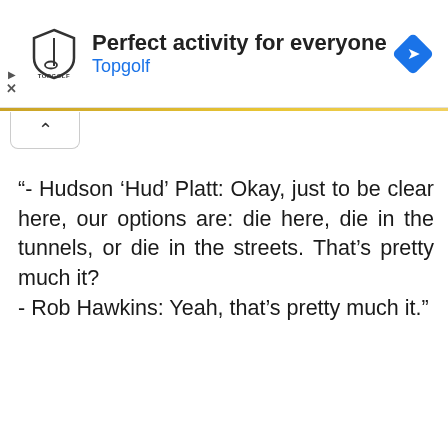[Figure (screenshot): Topgolf advertisement banner with logo, 'Perfect activity for everyone' headline, and navigation icon]
“- Hudson ‘Hud’ Platt: Okay, just to be clear here, our options are: die here, die in the tunnels, or die in the streets. That’s pretty much it?
- Rob Hawkins: Yeah, that’s pretty much it.”
T.J. MILLER - Hudson ‘Hud’ Platt
MICHAEL STAHL-DAVID - Rob Hawkins